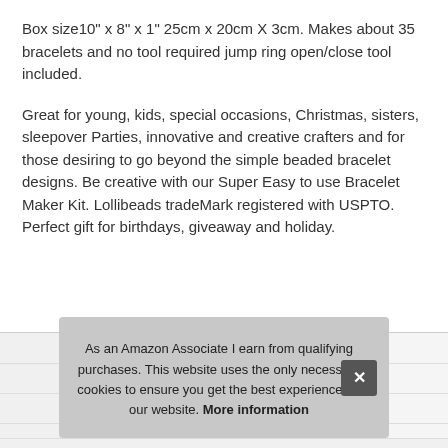Box size 10" x 8" x 1" 25cm x 20cm X 3cm. Makes about 35 bracelets and no tool required jump ring open/close tool included.
Great for young, kids, special occasions, Christmas, sisters, sleepover Parties, innovative and creative crafters and for those desiring to go beyond the simple beaded bracelet designs. Be creative with our Super Easy to use Bracelet Maker Kit. Lollibeads tradeMark registered with USPTO. Perfect gift for birthdays, giveaway and holiday.
|  |  |
| --- | --- |
| Brand | LolliBeads |
| Ma |  |
| P |  |
As an Amazon Associate I earn from qualifying purchases. This website uses the only necessary cookies to ensure you get the best experience on our website. More information